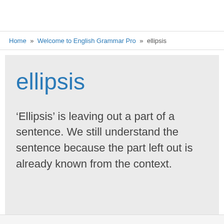Home » Welcome to English Grammar Pro » ellipsis
ellipsis
‘Ellipsis’ is leaving out a part of a sentence. We still understand the sentence because the part left out is already known from the context.